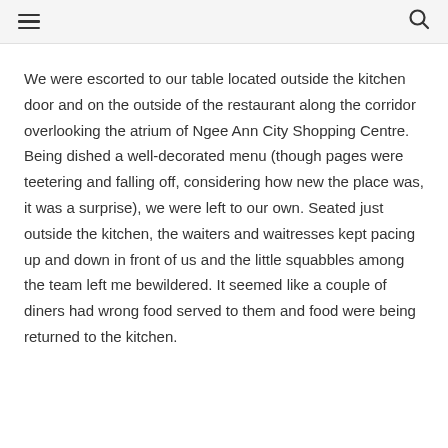≡  🔍
We were escorted to our table located outside the kitchen door and on the outside of the restaurant along the corridor overlooking the atrium of Ngee Ann City Shopping Centre. Being dished a well-decorated menu (though pages were teetering and falling off, considering how new the place was, it was a surprise), we were left to our own. Seated just outside the kitchen, the waiters and waitresses kept pacing up and down in front of us and the little squabbles among the team left me bewildered. It seemed like a couple of diners had wrong food served to them and food were being returned to the kitchen.